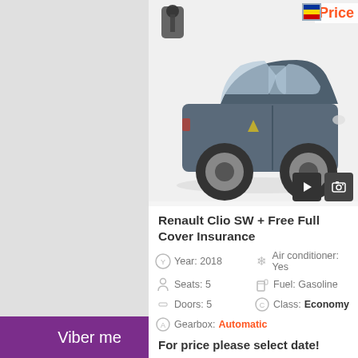[Figure (photo): Renault Clio SW car photo, dark blue/grey color, side-front view, with gearbox icon overlay and video/photo media buttons at bottom right, Price label in red top right]
Renault Clio SW + Free Full Cover Insurance
Year: 2018
Air conditioner: Yes
Seats: 5
Fuel: Gasoline
Doors: 5
Class: Economy
Gearbox: Automatic
For price please select date!
Details
Book now
Price
Viber me   Whatsapp